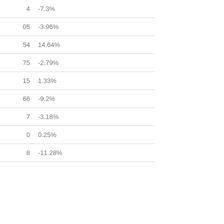|  |  |
| --- | --- |
| 4 | -7.3% |
| 05 | -3.96% |
| 54 | 14.64% |
| 75 | -2.79% |
| 15 | 1.33% |
| 66 | -9.2% |
| 7 | -3.18% |
| 0 | 0.25% |
| 8 | -11.28% |